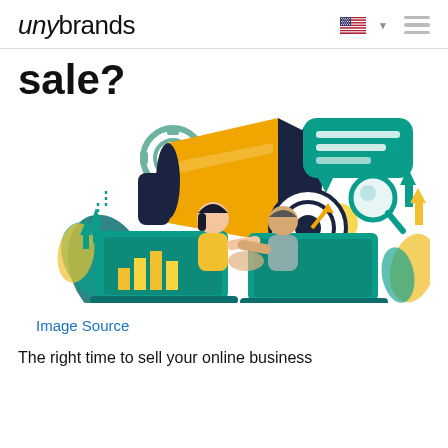unybrands
sale?
[Figure (illustration): Marketing/business illustration showing two people shaking hands over laptops, a large megaphone, gears, a target/bullseye, a magnifying glass, growth arrows, chat bubble, lightbulb, and decorative leaves in teal, yellow/gold, and dark navy colors.]
Image Source
The right time to sell your online business